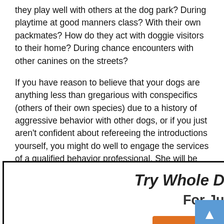they play well with others at the dog park? During playtime at good manners class? With their own packmates? How do they act with doggie visitors to their home? During chance encounters with other canines on the streets?
If you have reason to believe that your dogs are anything less than gregarious with conspecifics (others of their own species) due to a history of aggressive behavior with other dogs, or if you just aren't confident about refereeing the introductions yourself, you might do well to engage the services of a qualified behavior professional. She will be able to help you read and understand your dogs' body language, and optimize
[Figure (other): Popup advertisement overlay for 'Whole Dog Journal' subscription. Title: 'Try Whole Dog Journal For Just $1' with an orange 'Get Started' button. Has a black X close button in the top right corner.]